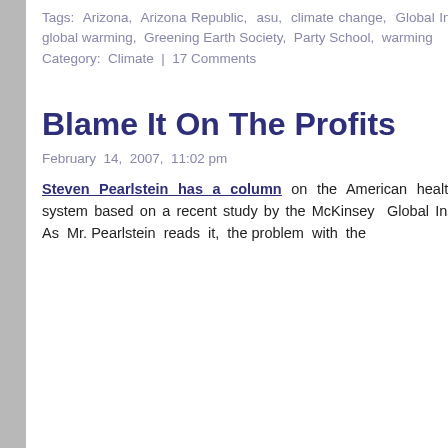Tags: Arizona, Arizona Republic, asu, climate change, Global Institute, global warming, Greening Earth Society, Party School, warming
Category: Climate | 17 Comments
Blame It On The Profits
February 14, 2007, 11:02 pm
Steven Pearlstein has a column on the American health care system based on a recent study by the McKinsey Global Institute. As Mr. Pearlstein reads it, the problem with the